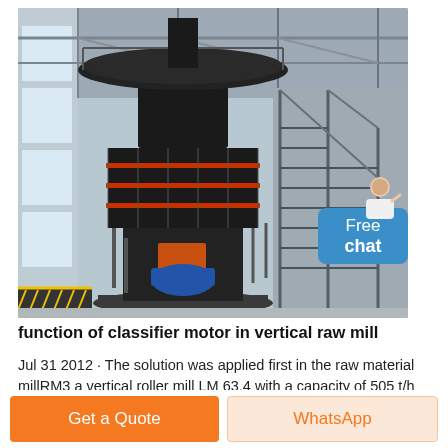[Figure (photo): Large vertical roller mill (raw mill) inside an industrial factory building. The machine is black/dark grey, cylindrical, tall, with a wide rotating classifier on top and a blue motor at the base. Industrial stairs and walkways visible to the right. Factory has a steel-framed roof structure. A chat widget with a person icon and blue 'Free chat' bubble overlays the top right of the image.]
function of classifier motor in vertical raw mill
Jul 31 2012 · The solution was applied first in the raw material millRM3 a vertical roller mill LM 63.4 with a capacity of 505 t/h and a specific